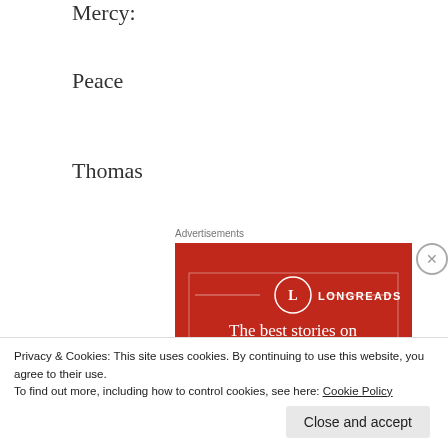Mercy:
Peace
Thomas
Advertisements
[Figure (illustration): Longreads advertisement banner on red background with white circle logo containing letter L and text 'LONGREADS'. Main text reads: The best stories on the web – ours, and everyone else's.]
Privacy & Cookies: This site uses cookies. By continuing to use this website, you agree to their use.
To find out more, including how to control cookies, see here: Cookie Policy
Close and accept